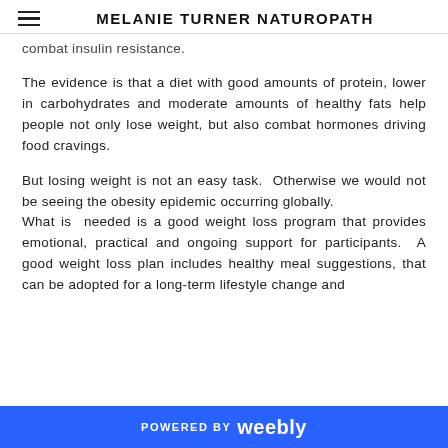MELANIE TURNER NATUROPATH
combat insulin resistance.
The evidence is that a diet with good amounts of protein, lower in carbohydrates and moderate amounts of healthy fats help people not only lose weight, but also combat hormones driving food cravings.
But losing weight is not an easy task. Otherwise we would not be seeing the obesity epidemic occurring globally.
What is needed is a good weight loss program that provides emotional, practical and ongoing support for participants. A good weight loss plan includes healthy meal suggestions, that can be adopted for a long-term lifestyle change and
POWERED BY weebly